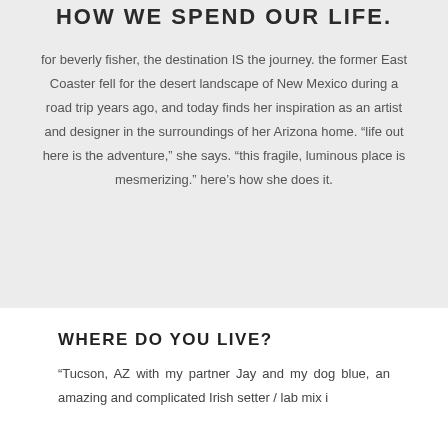HOW WE SPEND OUR LIFE.
for beverly fisher, the destination IS the journey. the former East Coaster fell for the desert landscape of New Mexico during a road trip years ago, and today finds her inspiration as an artist and designer in the surroundings of her Arizona home. “life out here is the adventure,” she says. “this fragile, luminous place is mesmerizing.” here’s how she does it.
WHERE DO YOU LIVE?
“Tucson, AZ with my partner Jay and my dog blue, an amazing and complicated Irish setter / lab mix i